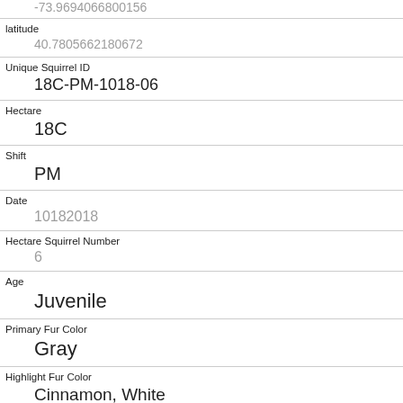| -73.9694066800156 |
| latitude | 40.7805662180672 |
| Unique Squirrel ID | 18C-PM-1018-06 |
| Hectare | 18C |
| Shift | PM |
| Date | 10182018 |
| Hectare Squirrel Number | 6 |
| Age | Juvenile |
| Primary Fur Color | Gray |
| Highlight Fur Color | Cinnamon, White |
| Combination of Primary and Highlight Color | Gray+Cinnamon, White |